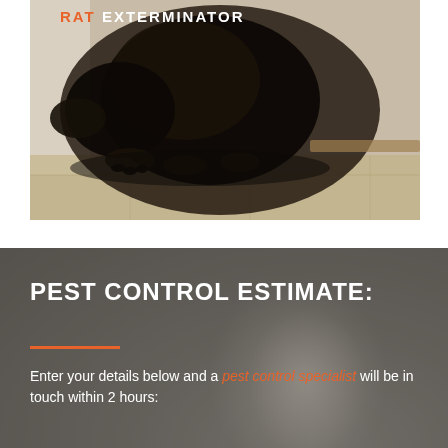[Figure (photo): Close-up photo of a dark rat on a tiled floor near a wall, with the text 'RAT EXTERMINATOR' overlaid at the top in white capital letters with 'RAT' highlighted in orange]
RAT EXTERMINATOR
[Figure (photo): Background photo of a pest control technician in protective gear, blurred and overlaid with grey tint]
PEST CONTROL ESTIMATE:
Enter your details below and a pest control specialist will be in touch within 2 hours: